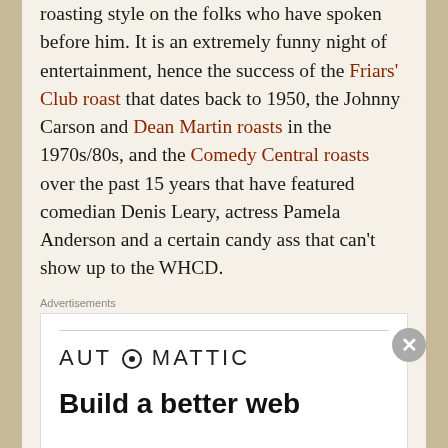roasting style on the folks who have spoken before him. It is an extremely funny night of entertainment, hence the success of the Friars' Club roast that dates back to 1950, the Johnny Carson and Dean Martin roasts in the 1970s/80s, and the Comedy Central roasts over the past 15 years that have featured comedian Denis Leary, actress Pamela Anderson and a certain candy ass that can't show up to the WHCD.
Advertisements
[Figure (other): Automattic advertisement with logo and tagline 'Build a better web']
Advertisements
[Figure (other): WooCommerce advertisement: 'How to start selling subscriptions online']